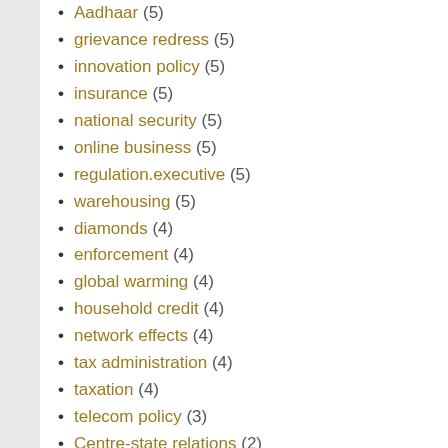Aadhaar (5)
grievance redress (5)
innovation policy (5)
insurance (5)
national security (5)
online business (5)
regulation.executive (5)
warehousing (5)
diamonds (4)
enforcement (4)
global warming (4)
household credit (4)
network effects (4)
tax administration (4)
taxation (4)
telecom policy (3)
Centre-state relations (2)